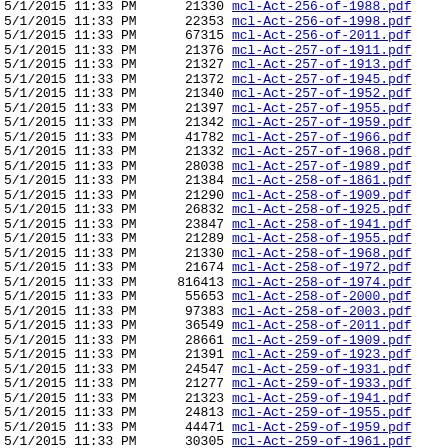| Date | Time | AM/PM | Size | Filename |
| --- | --- | --- | --- | --- |
| 5/1/2015 | 11:33 | PM | 21330 | mcl-Act-256-of-1988.pdf |
| 5/1/2015 | 11:33 | PM | 22353 | mcl-Act-256-of-1998.pdf |
| 5/1/2015 | 11:33 | PM | 67315 | mcl-Act-256-of-2011.pdf |
| 5/1/2015 | 11:33 | PM | 21376 | mcl-Act-257-of-1911.pdf |
| 5/1/2015 | 11:33 | PM | 21327 | mcl-Act-257-of-1913.pdf |
| 5/1/2015 | 11:33 | PM | 21372 | mcl-Act-257-of-1945.pdf |
| 5/1/2015 | 11:33 | PM | 21340 | mcl-Act-257-of-1952.pdf |
| 5/1/2015 | 11:33 | PM | 21397 | mcl-Act-257-of-1955.pdf |
| 5/1/2015 | 11:33 | PM | 21342 | mcl-Act-257-of-1959.pdf |
| 5/1/2015 | 11:33 | PM | 41782 | mcl-Act-257-of-1966.pdf |
| 5/1/2015 | 11:33 | PM | 21332 | mcl-Act-257-of-1968.pdf |
| 5/1/2015 | 11:33 | PM | 28038 | mcl-Act-257-of-1989.pdf |
| 5/1/2015 | 11:33 | PM | 21384 | mcl-Act-258-of-1861.pdf |
| 5/1/2015 | 11:33 | PM | 21290 | mcl-Act-258-of-1909.pdf |
| 5/1/2015 | 11:33 | PM | 26832 | mcl-Act-258-of-1925.pdf |
| 5/1/2015 | 11:33 | PM | 23847 | mcl-Act-258-of-1941.pdf |
| 5/1/2015 | 11:33 | PM | 21289 | mcl-Act-258-of-1955.pdf |
| 5/1/2015 | 11:33 | PM | 21330 | mcl-Act-258-of-1968.pdf |
| 5/1/2015 | 11:33 | PM | 21674 | mcl-Act-258-of-1972.pdf |
| 5/1/2015 | 11:33 | PM | 816413 | mcl-Act-258-of-1974.pdf |
| 5/1/2015 | 11:33 | PM | 55653 | mcl-Act-258-of-2000.pdf |
| 5/1/2015 | 11:33 | PM | 97383 | mcl-Act-258-of-2003.pdf |
| 5/1/2015 | 11:33 | PM | 36549 | mcl-Act-258-of-2011.pdf |
| 5/1/2015 | 11:33 | PM | 28661 | mcl-Act-259-of-1909.pdf |
| 5/1/2015 | 11:33 | PM | 21391 | mcl-Act-259-of-1923.pdf |
| 5/1/2015 | 11:33 | PM | 24547 | mcl-Act-259-of-1931.pdf |
| 5/1/2015 | 11:33 | PM | 21277 | mcl-Act-259-of-1933.pdf |
| 5/1/2015 | 11:33 | PM | 21323 | mcl-Act-259-of-1941.pdf |
| 5/1/2015 | 11:33 | PM | 24813 | mcl-Act-259-of-1955.pdf |
| 5/1/2015 | 11:33 | PM | 44471 | mcl-Act-259-of-1959.pdf |
| 5/1/2015 | 11:33 | PM | 30305 | mcl-Act-259-of-1961.pdf |